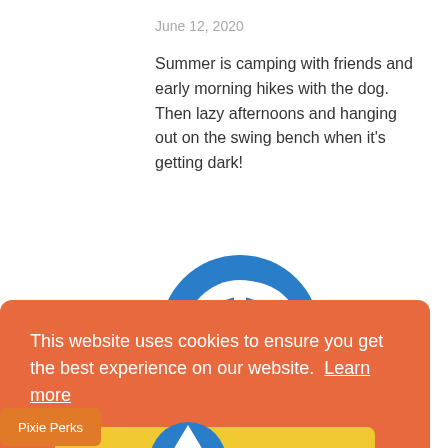June 12, 2020
Summer is camping with friends and early morning hikes with the dog. Then lazy afternoons and hanging out on the swing bench when it's getting dark!
[Figure (logo): Blue circular power button logo icon]
LeAnn
This website uses cookies to ensure you get the best experience on our website.  Learn more
Got it!
Pixie Perks